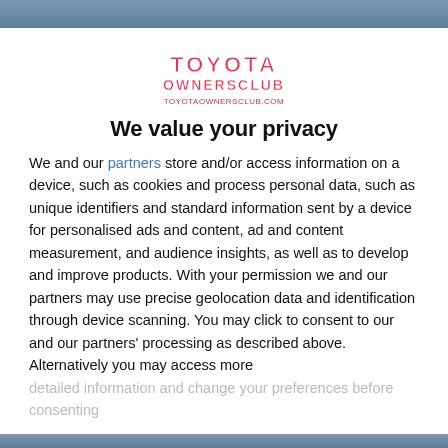[Figure (photo): Top banner photo, partially visible car/automotive background image (cropped)]
[Figure (logo): Toyota Owners Club logo with red/pink text and URL toyotaownersclub.com]
We value your privacy
We and our partners store and/or access information on a device, such as cookies and process personal data, such as unique identifiers and standard information sent by a device for personalised ads and content, ad and content measurement, and audience insights, as well as to develop and improve products. With your permission we and our partners may use precise geolocation data and identification through device scanning. You may click to consent to our and our partners' processing as described above. Alternatively you may access more detailed information and change your preferences before consenting
AGREE
MORE OPTIONS
[Figure (photo): Bottom banner photo, partially visible automotive background image (cropped)]